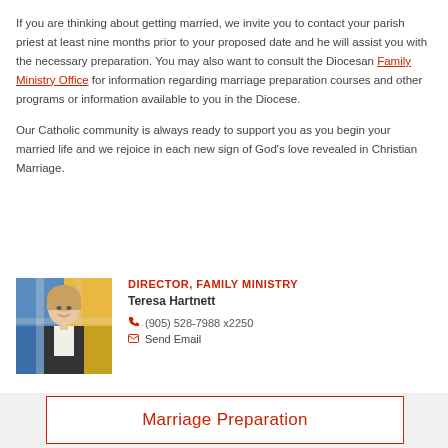If you are thinking about getting married, we invite you to contact your parish priest at least nine months prior to your proposed date and he will assist you with the necessary preparation. You may also want to consult the Diocesan Family Ministry Office for information regarding marriage preparation courses and other programs or information available to you in the Diocese.
Our Catholic community is always ready to support you as you begin your married life and we rejoice in each new sign of God's love revealed in Christian Marriage.
[Figure (photo): Portrait photo of Teresa Hartnett, Director of Family Ministry, a woman with blonde hair in a black jacket, with a stained glass window background]
DIRECTOR, FAMILY MINISTRY
Teresa Hartnett
(905) 528-7988 x2250
Send Email
Marriage Preparation